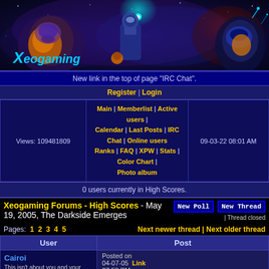[Figure (illustration): Xeogaming banner with sci-fi characters, robots, and the Xeogaming logo in cyan on a dark purple/blue space background]
New link in the top of page "IRC Chat".
Register | Login
| Views | Navigation | Date/Time |
| --- | --- | --- |
| Views: 109481809 | Main | Memberlist | Active users | Calendar | Last Posts | IRC Chat | Online users
Ranks | FAQ | XPW | Stats | Color Chart | Photo album | 09-03-22 08:01 AM |
0 users currently in High Scores.
Xeogaming Forums - High Scores - May 19, 2005, The Darkside Emerges
Pages: 1 2 3 4 5    Next newer thread | Next older thread
| User | Post |
| --- | --- |
| Cairoi
This isn't about you and your loud mouth,
This is about me and my fucking beard.
Level: 120
Posts:
EXP:19051897
For next:435274
Since: 08-29-04 | Posted on 04-07-05 Link 07:58 PM
Vulkar is one day older than I...AMAZIN!!!!

My birffday is one day after the release and that has me a ponderin...

Though I've always cherished the classic ones and... |
| Thread closed